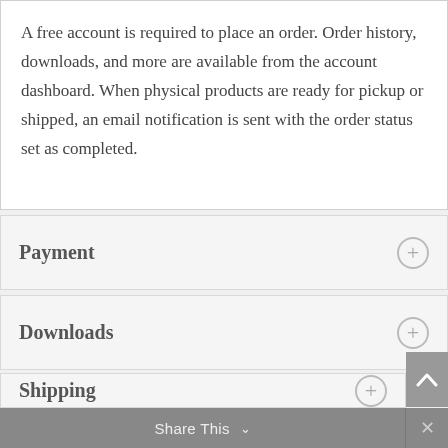A free account is required to place an order. Order history, downloads, and more are available from the account dashboard. When physical products are ready for pickup or shipped, an email notification is sent with the order status set as completed.
Payment
Downloads
Shipping
Share This ∨  ✕